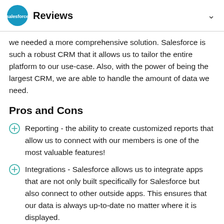Reviews
we needed a more comprehensive solution. Salesforce is such a robust CRM that it allows us to tailor the entire platform to our use-case. Also, with the power of being the largest CRM, we are able to handle the amount of data we need.
Pros and Cons
Reporting - the ability to create customized reports that allow us to connect with our members is one of the most valuable features!
Integrations - Salesforce allows us to integrate apps that are not only built specifically for Salesforce but also connect to other outside apps. This ensures that our data is always up-to-date no matter where it is displayed.